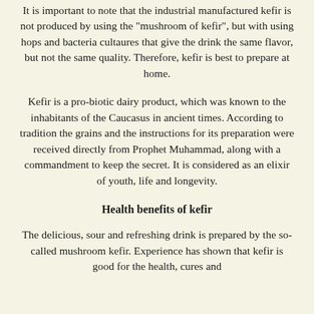It is important to note that the industrial manufactured kefir is not produced by using the "mushroom of kefir", but with using hops and bacteria cultaures that give the drink the same flavor, but not the same quality. Therefore, kefir is best to prepare at home.
Kefir is a pro-biotic dairy product, which was known to the inhabitants of the Caucasus in ancient times. According to tradition the grains and the instructions for its preparation were received directly from Prophet Muhammad, along with a commandment to keep the secret. It is considered as an elixir of youth, life and longevity.
Health benefits of kefir
The delicious, sour and refreshing drink is prepared by the so-called mushroom kefir. Experience has shown that kefir is good for the health, cures and